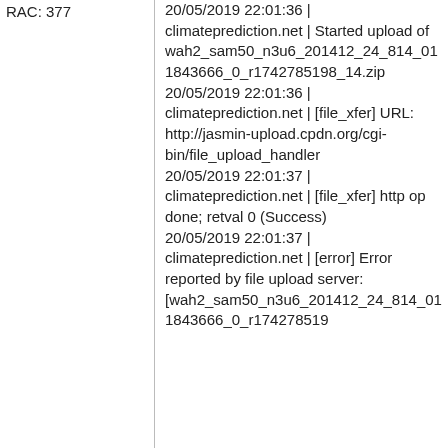| RAC: 377 | 20/05/2019 22:01:36 | climateprediction.net | Started upload of wah2_sam50_n3u6_201412_24_814_011843666_0_r1742785198_14.zip
20/05/2019 22:01:36 | climateprediction.net | [file_xfer] URL: http://jasmin-upload.cpdn.org/cgi-bin/file_upload_handler
20/05/2019 22:01:37 | climateprediction.net | [file_xfer] http op done; retval 0 (Success)
20/05/2019 22:01:37 | climateprediction.net | [error] Error reported by file upload server: [wah2_sam50_n3u6_201412_24_814_011843666_0_r174278519 |